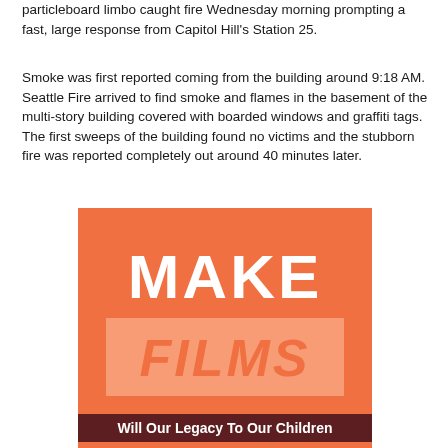particleboard limbo caught fire Wednesday morning prompting a fast, large response from Capitol Hill's Station 25.
Smoke was first reported coming from the building around 9:18 AM. Seattle Fire arrived to find smoke and flames in the basement of the multi-story building covered with boarded windows and graffiti tags. The first sweeps of the building found no victims and the stubborn fire was reported completely out around 40 minutes later.
[Figure (illustration): Orange square advertisement with bold white text 'MAKE' and italic 'FILMS' text on a lighter orange background box. Below is a dark red/maroon banner with white bold text reading 'Will Our Legacy To Our Children']